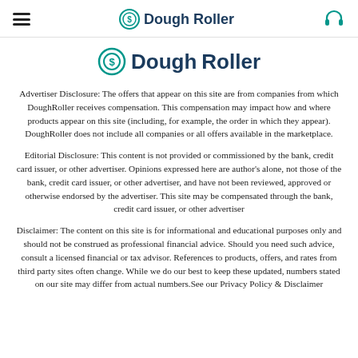DoughRoller
[Figure (logo): DoughRoller logo — dollar coin circle icon with DoughRoller text in teal and dark blue]
Advertiser Disclosure: The offers that appear on this site are from companies from which DoughRoller receives compensation. This compensation may impact how and where products appear on this site (including, for example, the order in which they appear). DoughRoller does not include all companies or all offers available in the marketplace.
Editorial Disclosure: This content is not provided or commissioned by the bank, credit card issuer, or other advertiser. Opinions expressed here are author's alone, not those of the bank, credit card issuer, or other advertiser, and have not been reviewed, approved or otherwise endorsed by the advertiser. This site may be compensated through the bank, credit card issuer, or other advertiser
Disclaimer: The content on this site is for informational and educational purposes only and should not be construed as professional financial advice. Should you need such advice, consult a licensed financial or tax advisor. References to products, offers, and rates from third party sites often change. While we do our best to keep these updated, numbers stated on our site may differ from actual numbers.See our Privacy Policy & Disclaimer